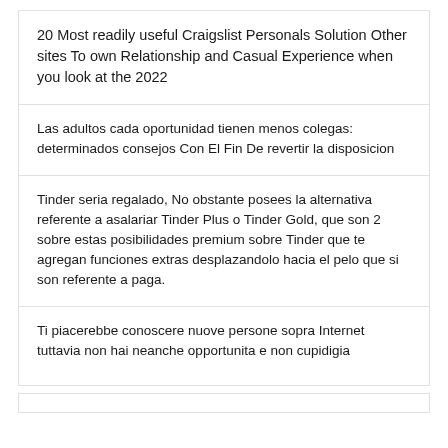20 Most readily useful Craigslist Personals Solution Other sites To own Relationship and Casual Experience when you look at the 2022
Las adultos cada oportunidad tienen menos colegas: determinados consejos Con El Fin De revertir la disposicion
Tinder seria regalado, No obstante posees la alternativa referente a asalariar Tinder Plus o Tinder Gold, que son 2 sobre estas posibilidades premium sobre Tinder que te agregan funciones extras desplazandolo hacia el pelo que si son referente a paga.
Ti piacerebbe conoscere nuove persone sopra Internet tuttavia non hai neanche opportunita e non cupidigia